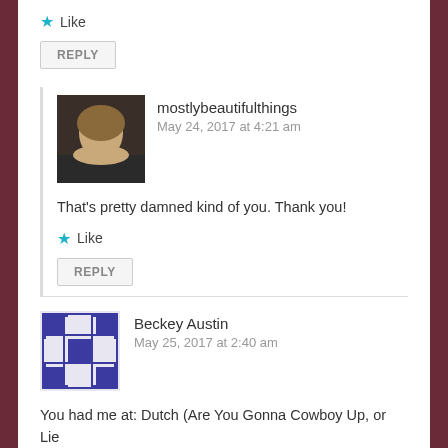★ Like
REPLY
mostlybeautifulthings
May 24, 2017 at 4:21 am
[Figure (photo): Avatar photo of mostlybeautifulthings, a woman with short blonde hair]
That's pretty damned kind of you. Thank you!
★ Like
REPLY
Beckey Austin
May 25, 2017 at 2:40 am
[Figure (logo): Beckey Austin Gravatar avatar - blue geometric quilt pattern icon]
You had me at: Dutch (Are You Gonna Cowboy Up, or Lie